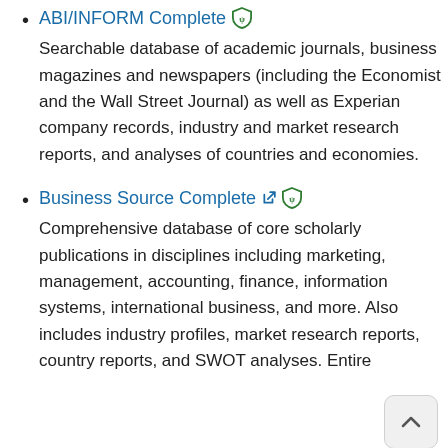ABI/INFORM Complete — Searchable database of academic journals, business magazines and newspapers (including the Economist and the Wall Street Journal) as well as Experian company records, industry and market research reports, and analyses of countries and economies.
Business Source Complete — Comprehensive database of core scholarly publications in disciplines including marketing, management, accounting, finance, information systems, international business, and more. Also includes industry profiles, market research reports, country reports, and SWOT analyses. Entire